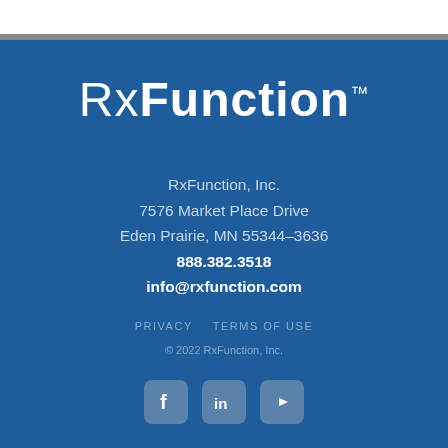[Figure (logo): RxFunction logo with Rx in light weight and Function in bold, trademark symbol]
RxFunction, Inc.
7576 Market Place Drive
Eden Prairie, MN 55344-3636
888.382.3518
info@rxfunction.com
PRIVACY   TERMS OF USE
© 2022 RxFunction, Inc.
[Figure (illustration): Social media icons: Facebook, LinkedIn, YouTube]